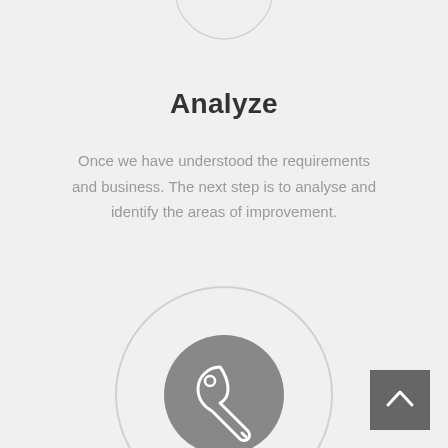[Figure (illustration): Partial circle outline visible at top of page, cropped]
Analyze
Once we have understood the requirements and business. The next step is to analyse and identify the areas of improvement.
[Figure (illustration): Large light circle outline with a dark gray filled inner circle containing a white wrench/spanner icon]
[Figure (illustration): Dark gray square button with a white upward-pointing chevron arrow (scroll-to-top button)]